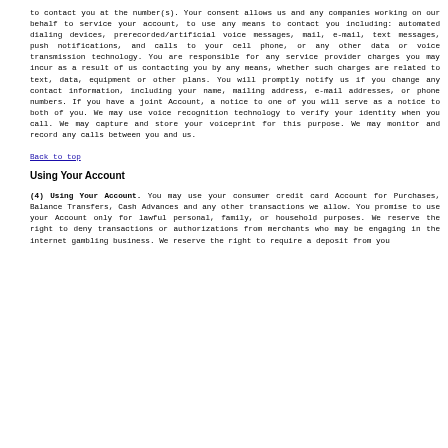to contact you at the number(s). Your consent allows us and any companies working on our behalf to service your account, to use any means to contact you including: automated dialing devices, prerecorded/artificial voice messages, mail, e-mail, text messages, push notifications, and calls to your cell phone, or any other data or voice transmission technology. You are responsible for any service provider charges you may incur as a result of us contacting you by any means, whether such charges are related to text, data, equipment or other plans. You will promptly notify us if you change any contact information, including your name, mailing address, e-mail addresses, or phone numbers. If you have a joint Account, a notice to one of you will serve as a notice to both of you. We may use voice recognition technology to verify your identity when you call. We may capture and store your voiceprint for this purpose. We may monitor and record any calls between you and us.
Back to top
Using Your Account
(4) Using Your Account. You may use your consumer credit card Account for Purchases, Balance Transfers, Cash Advances and any other transactions we allow. You promise to use your Account only for lawful personal, family, or household purposes. We reserve the right to deny transactions or authorizations from merchants who may be engaging in the internet gambling business. We reserve the right to require a deposit from you